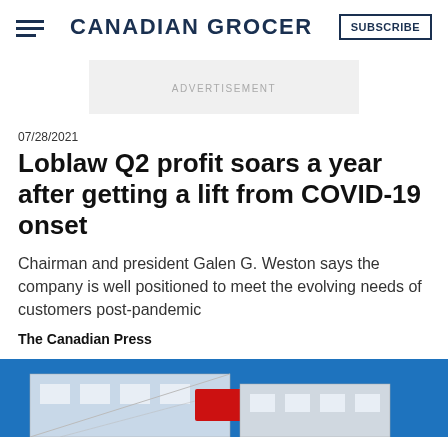CANADIAN GROCER
ADVERTISEMENT
07/28/2021
Loblaw Q2 profit soars a year after getting a lift from COVID-19 onset
Chairman and president Galen G. Weston says the company is well positioned to meet the evolving needs of customers post-pandemic
The Canadian Press
[Figure (photo): Exterior photo of a Loblaw/grocery store building with a red sign, blue sky background]